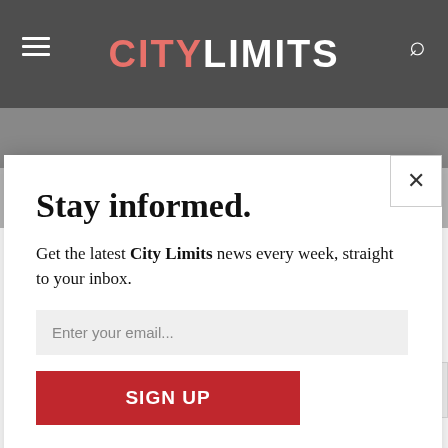CITY LIMITS
Stay informed.
Get the latest City Limits news every week, straight to your inbox.
Enter your email...
SIGN UP
We do not sell or share your information with anyone.
upset and said because we pay, $1,800 in taxes and this year again and I am not going to qualify the stimulus check?